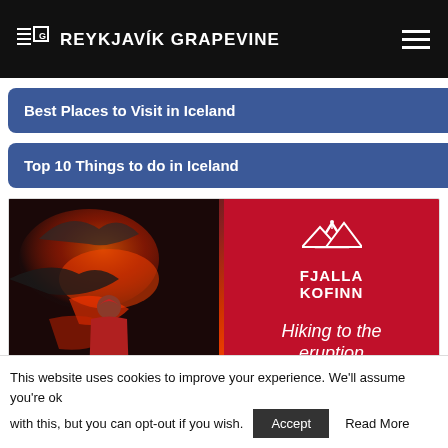THE REYKJAVÍK GRAPEVINE
Best Places to Visit in Iceland
Top 10 Things to do in Iceland
[Figure (photo): Advertisement for Fjalla Kofinn showing a person in a red hoodie watching a volcanic eruption on the left, and on the right a red panel with the Fjalla Kofinn logo and text 'Hiking to the eruption' and 'equipment list']
This website uses cookies to improve your experience. We'll assume you're ok with this, but you can opt-out if you wish. Accept  Read More